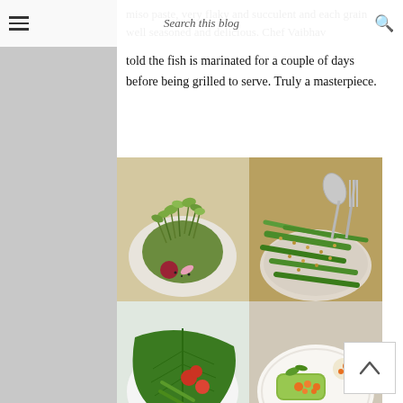Search this blog
miso paste, very flaky and succulent and each grain well seasoned and delicious. Chef Vaibhav told the fish is marinated for a couple of days before being grilled to serve. Truly a masterpiece.
[Figure (photo): Four food photos in a 2x2 grid: top-left shows a salad with microgreens and beet on a white plate; top-right shows green beans coated with seeds/crumble in a bowl with fork; bottom-left shows vegetables and tomatoes wrapped in a banana leaf; bottom-right shows a dish with orange sauce or roe on a white plate.]